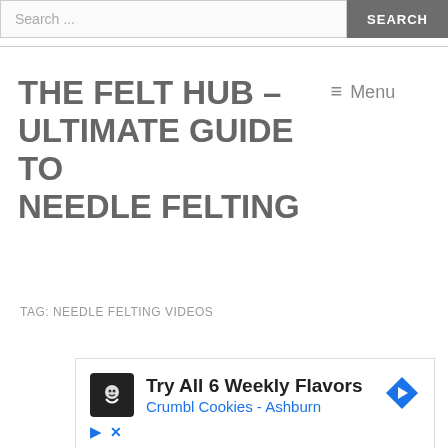Search ...  SEARCH
THE FELT HUB – ULTIMATE GUIDE TO NEEDLE FELTING
≡ Menu
TAG: NEEDLE FELTING VIDEOS
[Figure (other): Advertisement banner: Try All 6 Weekly Flavors Crumbl Cookies - Ashburn]